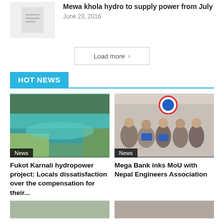Mewa khola hydro to supply power from July
June 23, 2016
Load more >
HOT NEWS
[Figure (photo): Aerial view of a river (Karnali) with lush greenery on the banks]
Fukot Karnali hydropower project: Locals dissatisfaction over the compensation for their...
[Figure (photo): Group of people holding blue folders/documents in front of a circular logo on a wall]
Mega Bank inks MoU with Nepal Engineers Association
[Figure (photo): Partial image at bottom left (cropped)]
[Figure (photo): Partial image at bottom right (cropped)]